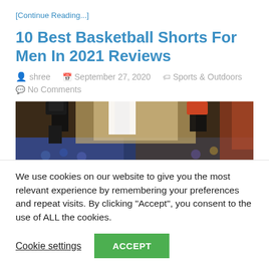[Continue Reading...]
10 Best Basketball Shorts For Men In 2021 Reviews
shree   September 27, 2020   Sports & Outdoors   No Comments
[Figure (photo): Basketball players on court, close-up of legs and shorts, crowd in background]
We use cookies on our website to give you the most relevant experience by remembering your preferences and repeat visits. By clicking "Accept", you consent to the use of ALL the cookies.
Cookie settings   ACCEPT